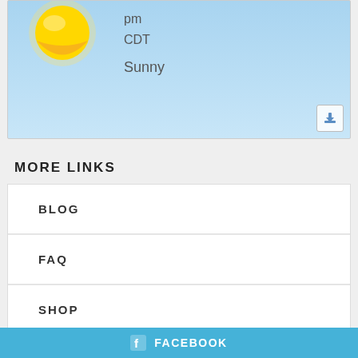[Figure (illustration): Weather widget showing a sun icon on a blue sky background with text 'pm', 'CDT', and 'Sunny' and a small download icon in the bottom right corner]
MORE LINKS
BLOG
FAQ
SHOP
CONTACT US
FACEBOOK